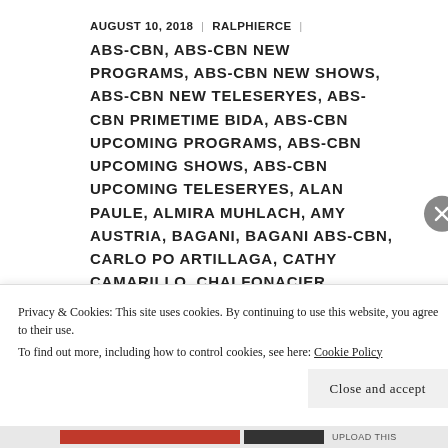AUGUST 10, 2018 | RALPHIERCE | ABS-CBN, ABS-CBN NEW PROGRAMS, ABS-CBN NEW SHOWS, ABS-CBN NEW TELESERYES, ABS-CBN PRIMETIME BIDA, ABS-CBN UPCOMING PROGRAMS, ABS-CBN UPCOMING SHOWS, ABS-CBN UPCOMING TELESERYES, ALAN PAULE, ALMIRA MUHLACH, AMY AUSTRIA, BAGANI, BAGANI ABS-CBN, CARLO PO ARTILLAGA, CATHY CAMARILLO, CHAI FONACIER, CHRISTIAN BABLES, CRIS VILLANUEVA, GAB LAGMAN, HALIK, HALIK ABS-CBN, HALIK DEBUT, HALIK DEBUT EPISODE, HALIK DEBUT WEEK, HALIK FIRST EPISODE, HALIK FIRST WEEK,
Privacy & Cookies: This site uses cookies. By continuing to use this website, you agree to their use. To find out more, including how to control cookies, see here: Cookie Policy
Close and accept